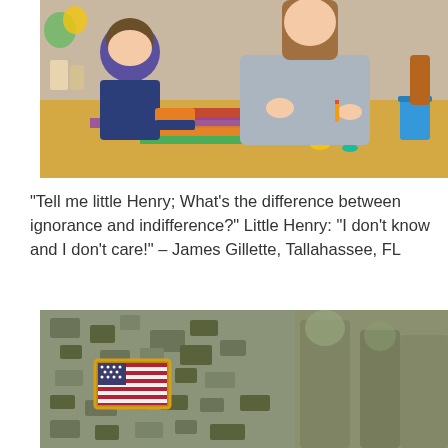[Figure (photo): A woman and a young boy doing a craft activity together at a table with colorful paper and scissors]
"Tell me little Henry; What's the difference between ignorance and indifference?" Little Henry: "I don't know and I don't care!" – James Gillette, Tallahassee, FL
[Figure (photo): Close-up of a US Army soldier's shoulder with an American flag patch, other soldiers blurred in background]